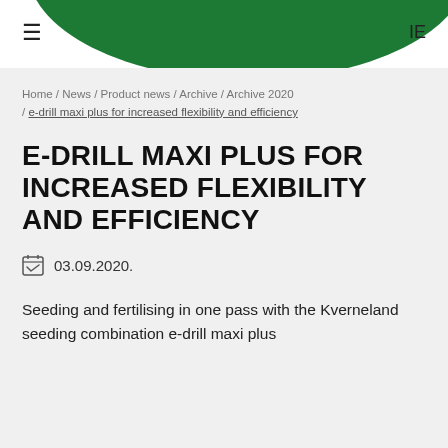≡  IE
Home / News / Product news / Archive / Archive 2020 / e-drill maxi plus for increased flexibility and efficiency
E-DRILL MAXI PLUS FOR INCREASED FLEXIBILITY AND EFFICIENCY
03.09.2020.
Seeding and fertilising in one pass with the Kverneland seeding combination e-drill maxi plus